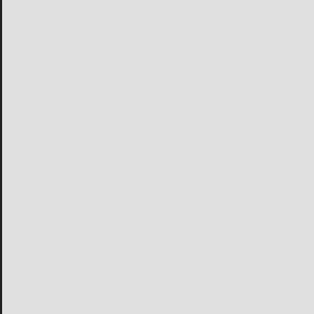Ibid She cannot do so much w[ith...]
Ibid Whore judgments are me[re...]
h[...]
are
Judges. D. P.
.
Hamlet. [2] 2101412143 F[...]
of mine
Ibid.41 5 1025/1133 -, withou[t...]